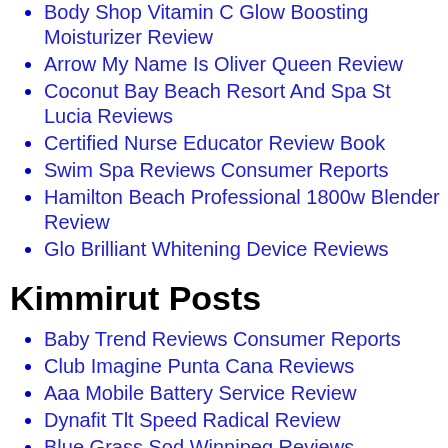Body Shop Vitamin C Glow Boosting Moisturizer Review
Arrow My Name Is Oliver Queen Review
Coconut Bay Beach Resort And Spa St Lucia Reviews
Certified Nurse Educator Review Book
Swim Spa Reviews Consumer Reports
Hamilton Beach Professional 1800w Blender Review
Glo Brilliant Whitening Device Reviews
Kimmirut Posts
Baby Trend Reviews Consumer Reports
Club Imagine Punta Cana Reviews
Aaa Mobile Battery Service Review
Dynafit Tlt Speed Radical Review
Blue Grass Sod Winnipeg Reviews